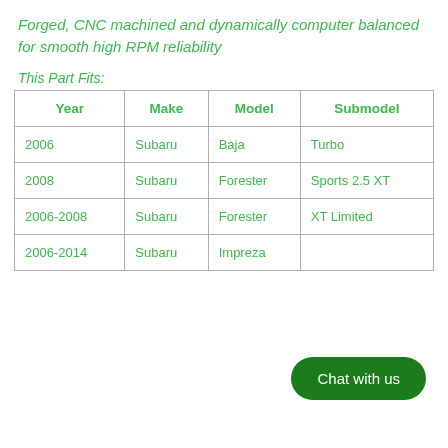Forged, CNC machined and dynamically computer balanced for smooth high RPM reliability
This Part Fits:
| Year | Make | Model | Submodel |
| --- | --- | --- | --- |
| 2006 | Subaru | Baja | Turbo |
| 2008 | Subaru | Forester | Sports 2.5 XT |
| 2006-2008 | Subaru | Forester | XT Limited |
| 2006-2014 | Subaru | Impreza |  |